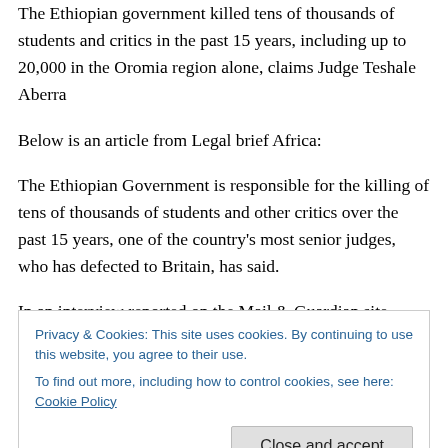The Ethiopian government killed tens of thousands of students and critics in the past 15 years, including up to 20,000 in the Oromia region alone, claims Judge Teshale Aberra
Below is an article from Legal brief Africa:
The Ethiopian Government is responsible for the killing of tens of thousands of students and other critics over the past 15 years, one of the country's most senior judges, who has defected to Britain, has said.
In an interview reported on the Mail & Guardian site
Privacy & Cookies: This site uses cookies. By continuing to use this website, you agree to their use.
To find out more, including how to control cookies, see here: Cookie Policy
'The M... government killed... to about its Th...